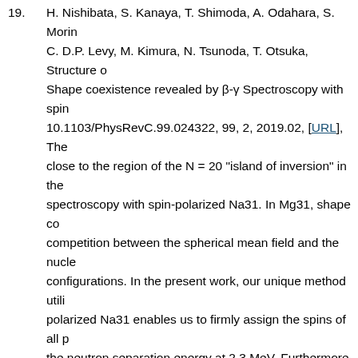19. H. Nishibata, S. Kanaya, T. Shimoda, A. Odahara, S. Morin..., C. D.P. Levy, M. Kimura, N. Tsunoda, T. Otsuka, Structure ... Shape coexistence revealed by β-γ Spectroscopy with spin... 10.1103/PhysRevC.99.024322, 99, 2, 2019.02, [URL], The ... close to the region of the N = 20 "island of inversion" in the ... spectroscopy with spin-polarized Na31. In Mg31, shape co... competition between the spherical mean field and the nucle... configurations. In the present work, our unique method utili... polarized Na31 enables us to firmly assign the spins of all p... the neutron separation energy at 2.3 MeV. Furthermore, by... scheme, including two newly found levels, the spins of neg... examination of the spectroscopic information shows that th... and 1/2-, which have very similar structures to those observ... Mg25, appear as the ground-state and low-lying bands, res... levels of Mg31 are compared, on the level-by-level basis, w... These are, first, the antisymmetrized molecular dynamics (... (GCM) and, second, the shell model with the EEdf1 interac... chiral effective field theory. It is understood that 8 levels am... members of four types of largely deformed rotational bands...